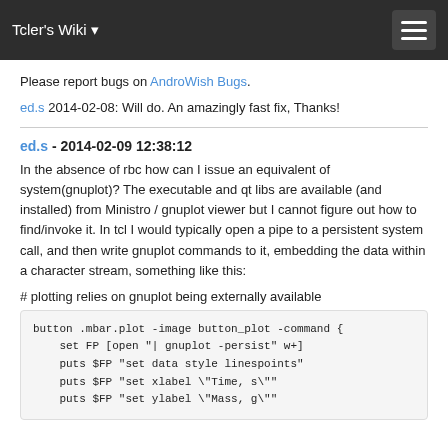Tcler's Wiki
Please report bugs on AndroWish Bugs.
ed.s 2014-02-08: Will do. An amazingly fast fix, Thanks!
ed.s - 2014-02-09 12:38:12
In the absence of rbc how can I issue an equivalent of system(gnuplot)? The executable and qt libs are available (and installed) from Ministro / gnuplot viewer but I cannot figure out how to find/invoke it. In tcl I would typically open a pipe to a persistent system call, and then write gnuplot commands to it, embedding the data within a character stream, something like this:
# plotting relies on gnuplot being externally available
button .mbar.plot -image button_plot -command {
    set FP [open "| gnuplot -persist" w+]
    puts $FP "set data style linespoints"
    puts $FP "set xlabel \"Time, s\""
    puts $FP "set ylabel \"Mass, g\""